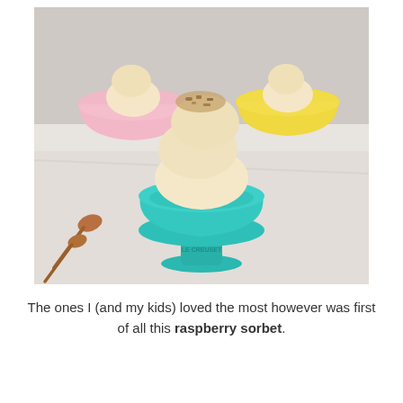[Figure (photo): Three colorful ceramic bowls filled with scoops of ice cream or sorbet on a marble surface. The foreground features a teal/turquoise pedestal bowl (Le Creuset) piled with creamy scoops topped with crumbled toppings. Behind it on the left is a pink bowl with a scoop, and on the right is a yellow bowl with a scoop. Two copper/rose-gold spoons lie on the left side of the surface.]
The ones I (and my kids) loved the most however was first of all this raspberry sorbet.